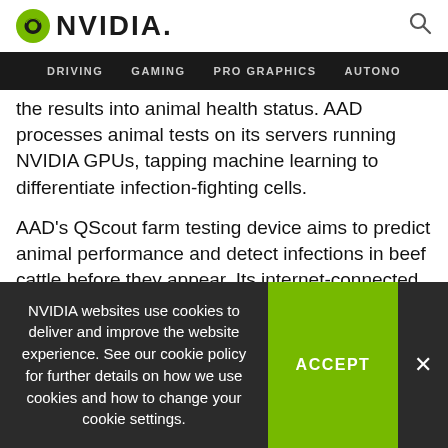NVIDIA
DRIVING  GAMING  PRO GRAPHICS  AUTONO
the results into animal health status. AAD processes animal tests on its servers running NVIDIA GPUs, tapping machine learning to differentiate infection-fighting cells.
AAD's QScout farm testing device aims to predict animal performance and detect infections in beef cattle before they appear. Its internet-connected portable lab can shuttle results to the cloud and provide alerts to red flags in the health of cows.
NVIDIA websites use cookies to deliver and improve the website experience. See our cookie policy for further details on how we use cookies and how to change your cookie settings.
ACCEPT
×